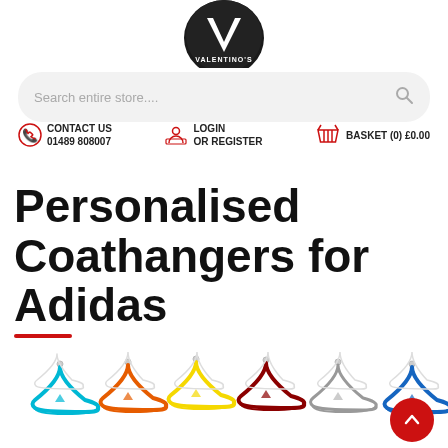[Figure (logo): Valentino's logo - circular dark badge with V symbol and 'VALENTINO'S' text]
[Figure (screenshot): Search bar with placeholder 'Search entire store....' and search icon]
CONTACT US 01489 808007
LOGIN OR REGISTER
BASKET (0) £0.00
Personalised Coathangers for Adidas
[Figure (photo): Row of colourful Adidas-branded coat hangers in cyan, orange, yellow, dark red, white/grey, and blue colours with Adidas logo on each]